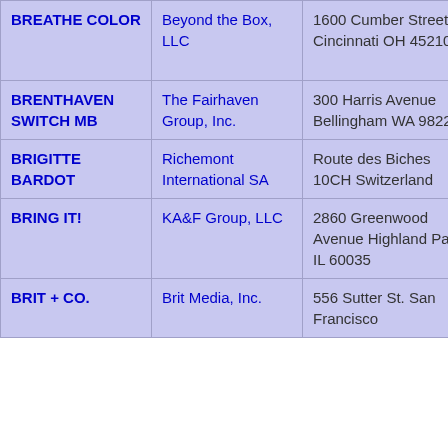| BREATHE COLOR | Beyond the Box, LLC | 1600 Cumber Street Cincinnati OH 45210 | SHOULDER BAGS, CL BAGS, HANDBAG PURSES,... |
| BRENTHAVEN SWITCH MB | The Fairhaven Group, Inc. | 300 Harris Avenue Bellingham WA 98225 | Mercantile goods, sh bags, carr |
| BRIGITTE BARDOT | Richemont International SA | Route des Biches 10CH Switzerland | Leather ite small leath ... |
| BRING IT! | KA&F Group, LLC | 2860 Greenwood Avenue Highland Park IL 60035 | textile, me canvas sh bags; ... |
| BRIT + CO. | Brit Media, Inc. | 556 Sutter St. San Francisco | Bags, bea clutch ba |